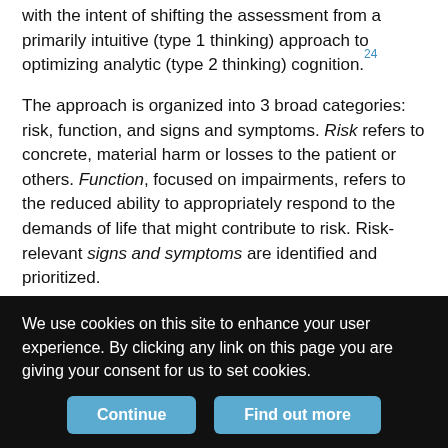with the intent of shifting the assessment from a primarily intuitive (type 1 thinking) approach to optimizing analytic (type 2 thinking) cognition.24
The approach is organized into 3 broad categories: risk, function, and signs and symptoms. Risk refers to concrete, material harm or losses to the patient or others. Function, focused on impairments, refers to the reduced ability to appropriately respond to the demands of life that might contribute to risk. Risk-relevant signs and symptoms are identified and prioritized.
Risk: Risks related to mental disorders can be categorized into the object of the risk (ie, self or others) and the nature of the risk (ie, intended, unintended, or iatrogenic) (Table 1). The following are the
We use cookies on this site to enhance your user experience. By clicking any link on this page you are giving your consent for us to set cookies.